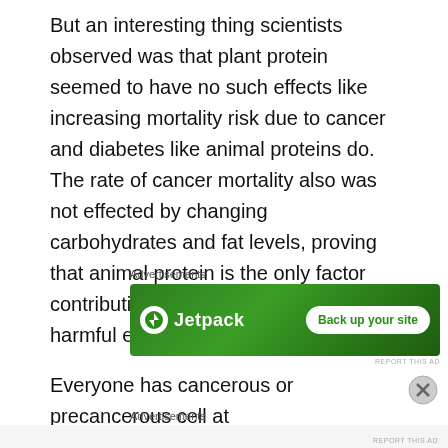But an interesting thing scientists observed was that plant protein seemed to have no such effects like increasing mortality risk due to cancer and diabetes like animal proteins do. The rate of cancer mortality also was not effected by changing carbohydrates and fat levels, proving that animal protein is the only factor contributing to above mentioned harmful effects.
Advertisements
[Figure (other): Jetpack advertisement banner with green background showing Jetpack logo and 'Back up your site' button]
Everyone has cancerous or precancerous cell at
Advertisements